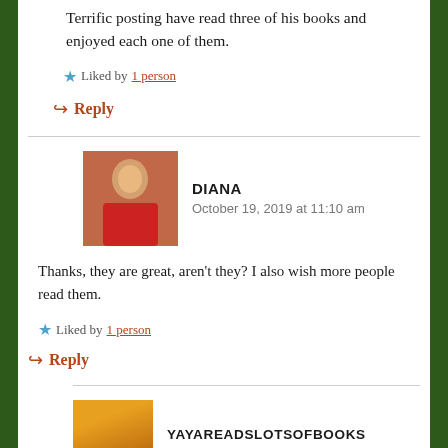Terrific posting have read three of his books and enjoyed each one of them.
Liked by 1 person
Reply
DIANA
October 19, 2019 at 11:10 am
Thanks, they are great, aren't they? I also wish more people read them.
Liked by 1 person
Reply
YAYAREADSLOTSOFBOOKS